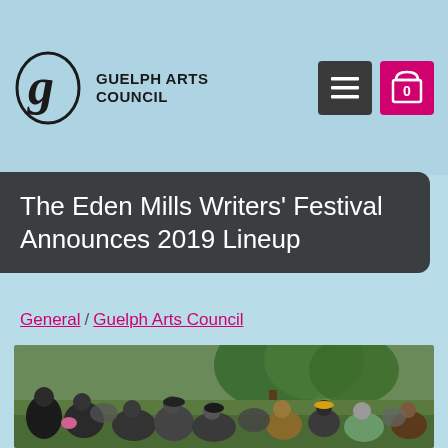Guelph Arts Council — navigation header with logo, hamburger menu, and cart button showing 0
The Eden Mills Writers' Festival Announces 2019 Lineup
General / Guelph Arts Council
[Figure (photo): Outdoor crowd of people sitting and lying on grass at a festival event, with trees in the background]